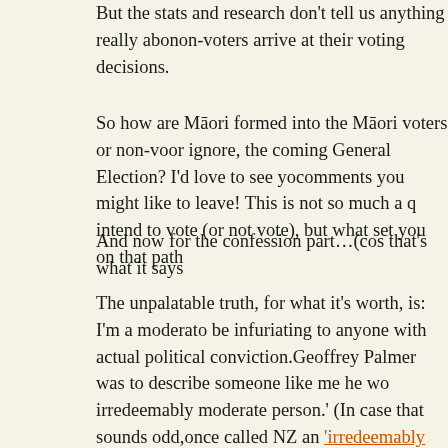But the stats and research don't tell us anything really about how voters or non-voters arrive at their voting decisions.
So how are Māori formed into the Māori voters or non-voters who engage, or ignore, the coming General Election? I'd love to see your thoughts in any comments you might like to leave! This is not so much a question of if you intend to vote (or not vote), but what set you on that path?
And now for the confession part…(cos that's what it says in the title)
The unpalatable truth, for what it's worth, is: I'm a moderate, which tends to be infuriating to anyone with actual political convictions. If Geoffrey Palmer was to describe someone like me he would call me 'an irredeemably moderate person.' (In case that sounds odd, Geoffrey Palmer once called NZ an 'irredeemably pluvial country', meaning rainy.) In practice this centrism means I prefer a political vision that takes multiple interests. Therefore I eschew the edges of mainstream political thought and disenfranchised people.  But, until Māori have a full economic role in this country, we will fall short of all we can be as a country. And, no, I have not yet decided who to vote for.